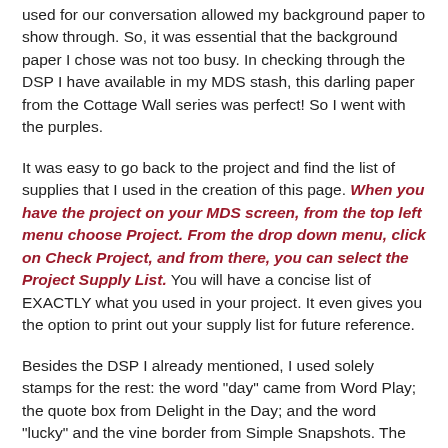used for our conversation allowed my background paper to show through. So, it was essential that the background paper I chose was not too busy. In checking through the DSP I have available in my MDS stash, this darling paper from the Cottage Wall series was perfect! So I went with the purples.
It was easy to go back to the project and find the list of supplies that I used in the creation of this page. When you have the project on your MDS screen, from the top left menu choose Project. From the drop down menu, click on Check Project, and from there, you can select the Project Supply List. You will have a concise list of EXACTLY what you used in your project. It even gives you the option to print out your supply list for future reference.
Besides the DSP I already mentioned, I used solely stamps for the rest: the word "day" came from Word Play; the quote box from Delight in the Day; and the word "lucky" and the vine border from Simple Snapshots. The DSP had a few floral elements that added the perfect touch besides the stamps I chose. I didn't want any more clutter since I wanted the quote and the cute photo of Stella to be the stars of the